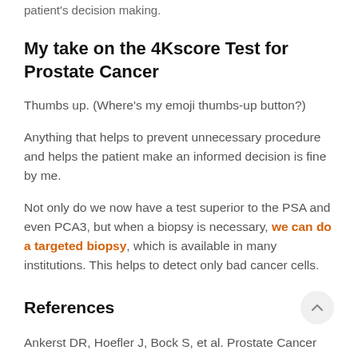patient's decision making.
My take on the 4Kscore Test for Prostate Cancer
Thumbs up. (Where's my emoji thumbs-up button?)
Anything that helps to prevent unnecessary procedure and helps the patient make an informed decision is fine by me.
Not only do we now have a test superior to the PSA and even PCA3, but when a biopsy is necessary, we can do a targeted biopsy, which is available in many institutions. This helps to detect only bad cancer cells.
References
Ankerst DR, Hoefler J, Bock S, et al. Prostate Cancer